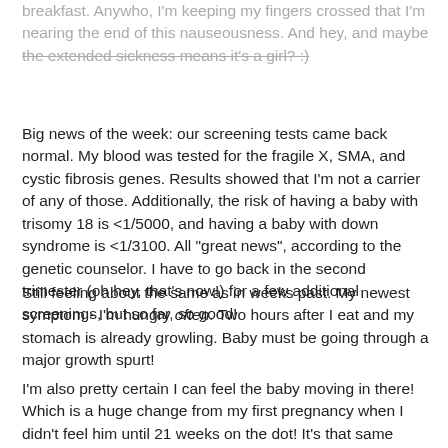breakfast.  Anywho, I'm keeping my fingers crossed that I'm nearing the end of this nauseousness.  And hey, and maybe the extended sickness means it's a girl? :)
Big news of the week: our screening tests came back normal.  My blood was tested for the fragile X, SMA, and cystic fibrosis genes.  Results showed that I'm not a carrier of any of those.  Additionally, the risk of having a baby with trisomy 18 is <1/5000, and having a baby with down syndrome is <1/3100.  All "great news", according to the genetic counselor.  I have to go back in the second trimester (oh hey, that's now!) for a few additional screenings, but so far, so good!
Still feeling about the same as in weeks past.  My newest symptom - I'm hungry often.  Two hours after I eat and my stomach is already growling.  Baby must be going through a major growth spurt!
I'm also pretty certain I can feel the baby moving in there!  Which is a huge change from my first pregnancy when I didn't feel him until 21 weeks on the dot!  It's that same